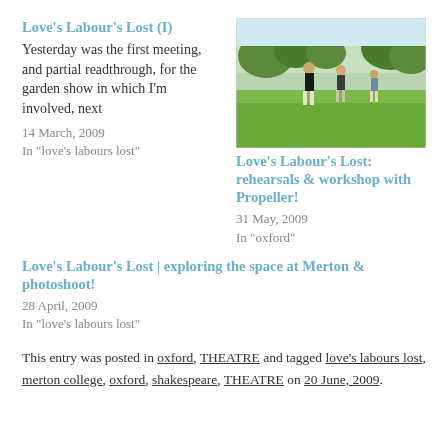Love's Labour's Lost (I)
Yesterday was the first meeting, and partial readthrough, for the garden show in which I'm involved, next
14 March, 2009
In "love's labours lost"
[Figure (photo): Outdoor photo of people standing on a green lawn with trees in the background]
Love's Labour's Lost: rehearsals & workshop with Propeller!
31 May, 2009
In "oxford"
Love's Labour's Lost | exploring the space at Merton & photoshoot!
28 April, 2009
In "love's labours lost"
This entry was posted in oxford, THEATRE and tagged love's labours lost, merton college, oxford, shakespeare, THEATRE on 20 June, 2009.